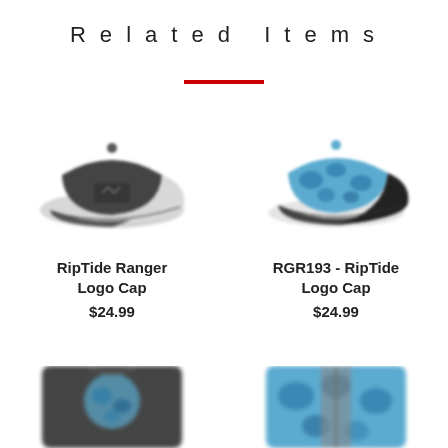Related Items
[Figure (photo): RipTide Ranger Logo Cap - dark grey trucker cap with white mesh back and logo patch]
RipTide Ranger Logo Cap
$24.99
[Figure (photo): RGR193 - RipTide Logo Cap - blue camouflage pattern cap with dark brim]
RGR193 - RipTide Logo Cap
$24.99
[Figure (photo): Bottom left product - dark grey shirt with blue camo logo partially visible]
[Figure (photo): Bottom right product - blue camo performance jacket partially visible]